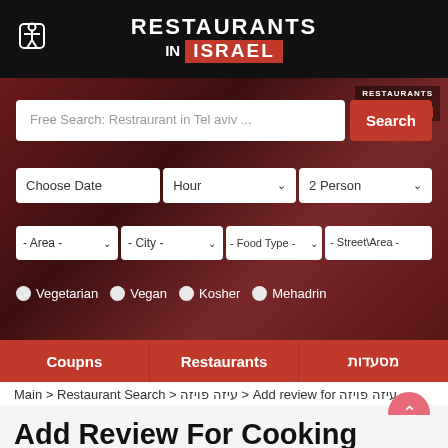RESTAURANTS IN ISRAEL
[Figure (screenshot): Website search interface for Restaurants in Israel with search bar, date/hour/person filters, area/city/food type filters, vegetarian/vegan/kosher/mehadrin radio options]
Coupns | Restaurants | מסעדות
Main > Restaurant Search > עיזה פויזה > Add review for עיזה פויזה
Add Review For Cooking Class